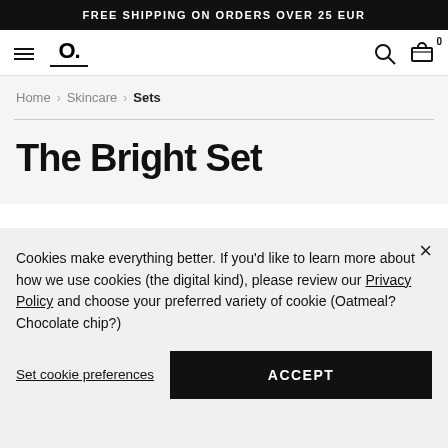FREE SHIPPING ON ORDERS OVER 25 EUR
[Figure (screenshot): Navigation bar with hamburger menu, O. logo, search icon, and cart icon with badge 0]
Home > Skincare > Sets
The Bright Set
Cookies make everything better. If you'd like to learn more about how we use cookies (the digital kind), please review our Privacy Policy and choose your preferred variety of cookie (Oatmeal? Chocolate chip?)
Set cookie preferences
ACCEPT